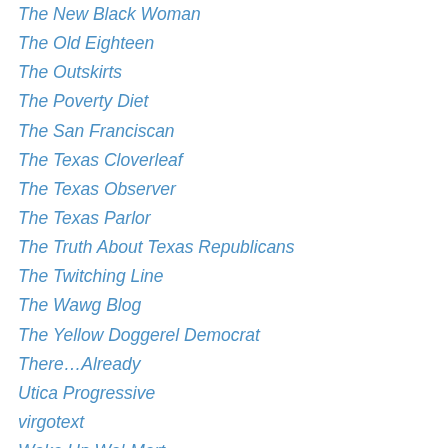The New Black Woman
The Old Eighteen
The Outskirts
The Poverty Diet
The San Franciscan
The Texas Cloverleaf
The Texas Observer
The Texas Parlor
The Truth About Texas Republicans
The Twitching Line
The Wawg Blog
The Yellow Doggerel Democrat
There…Already
Utica Progressive
virgotext
Wake Up Wal-Mart
Wandering Off
Watergate Summer
Wellstone Action!
What An African Woman Thinks